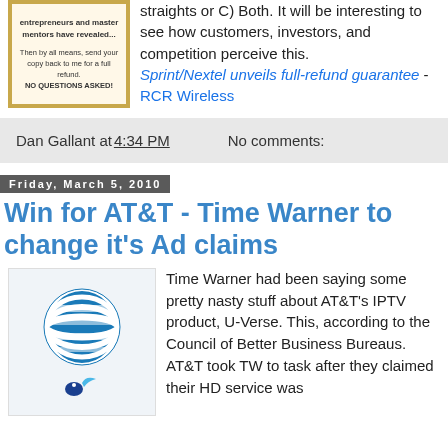[Figure (photo): Decorative gold-bordered certificate/book image with text about entrepreneurs and master mentors and full refund guarantee.]
straights or C) Both. It will be interesting to see how customers, investors, and competition perceive this. Sprint/Nextel unveils full-refund guarantee - RCR Wireless
Dan Gallant at 4:34 PM    No comments:
Friday, March 5, 2010
Win for AT&T - Time Warner to change it's Ad claims
[Figure (logo): AT&T globe logo (blue striped sphere) with a small bird/logo below it.]
Time Warner had been saying some pretty nasty stuff about AT&T's IPTV product, U-Verse. This, according to the Council of Better Business Bureaus. AT&T took TW to task after they claimed their HD service was